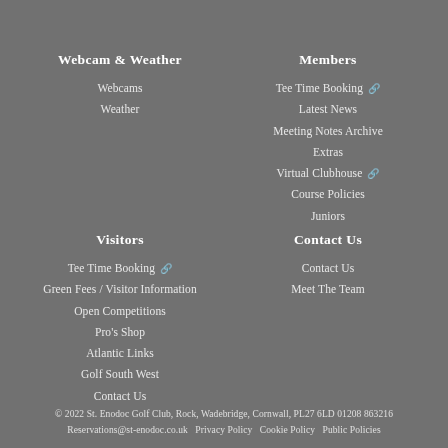Webcam & Weather
Webcams
Weather
Members
Tee Time Booking
Latest News
Meeting Notes Archive
Extras
Virtual Clubhouse
Course Policies
Juniors
Visitors
Tee Time Booking
Green Fees / Visitor Information
Open Competitions
Pro's Shop
Atlantic Links
Golf South West
Contact Us
Contact Us
Contact Us
Meet The Team
© 2022 St. Enodoc Golf Club, Rock, Wadebridge, Cornwall, PL27 6LD 01208 863216 Reservations@st-enodoc.co.uk  Privacy Policy  Cookie Policy  Public Policies